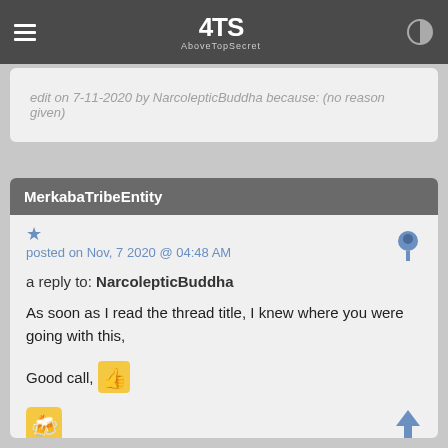AboveTopSecret (4TS)
edit on 7-11-2020 by NarcolepticBuddha because: (no reason given)
MerkabaTrieEntity
posted on Nov, 7 2020 @ 04:48 AM
a reply to: NarcolepticBuddha
As soon as I read the thread title, I knew where you were going with this,
Good call,
[Figure (other): Beer mug emoji]